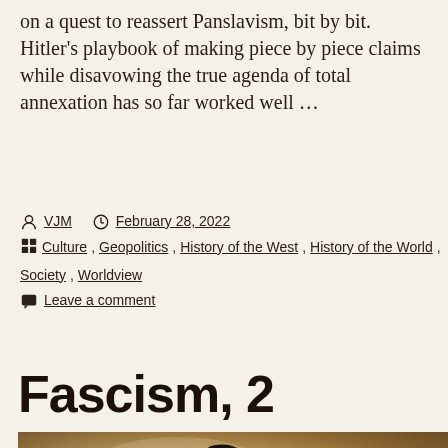on a quest to reassert Panslavism, bit by bit. Hitler's playbook of making piece by piece claims while disavowing the true agenda of total annexation has so far worked well …
Posted by VJM  February 28, 2022  Categories: Culture, Geopolitics, History of the West, History of the World, Society, Worldview  Leave a comment
Fascism, 2
[Figure (photo): Sepia-toned photo showing what appears to be a question mark symbol on fabric or paper, partially cropped at bottom of page]